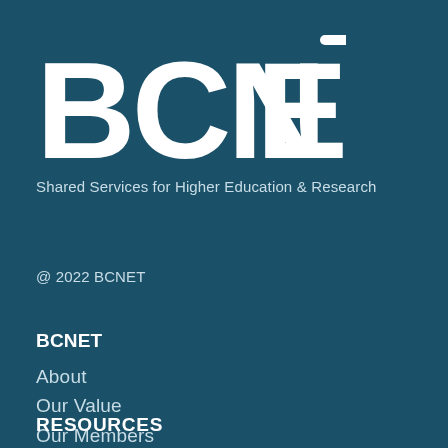[Figure (logo): BCNET logo with arrow on the T, white text on teal background]
Shared Services for Higher Education & Research
@ 2022 BCNET
BCNET
About
Our Value
Our Members
Service Catalogue
Advanced Network
News & Events
RESOURCES